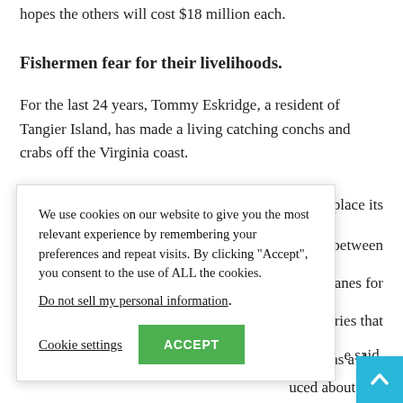hopes the others will cost $18 million each.
Fishermen fear for their livelihoods.
For the last 24 years, Tommy Eskridge, a resident of Tangier Island, has made a living catching conchs and crabs off the Virginia coast.
s to place its spacing between er lanes for l, worries that
[Figure (other): Cookie consent modal overlay with text: 'We use cookies on our website to give you the most relevant experience by remembering your preferences and repeat visits. By clicking "Accept", you consent to the use of ALL the cookies.' with a 'Do not sell my personal information' link, a 'Cookie settings' button, and a green 'ACCEPT' button.]
conchs a day, uced about half e said.
[Figure (other): Blue 'back to top' button with white upward arrow chevron, positioned in bottom-right corner.]